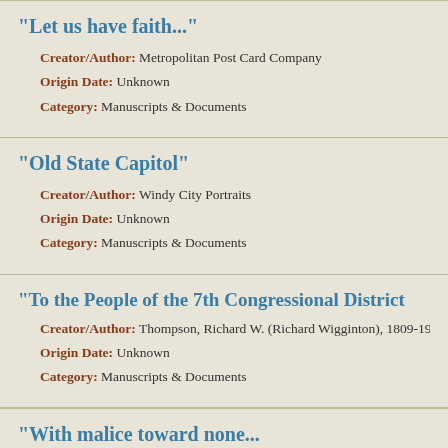"Let us have faith..."
Creator/Author: Metropolitan Post Card Company
Origin Date: Unknown
Category: Manuscripts & Documents
"Old State Capitol"
Creator/Author: Windy City Portraits
Origin Date: Unknown
Category: Manuscripts & Documents
"To the People of the 7th Congressional District
Creator/Author: Thompson, Richard W. (Richard Wigginton), 1809-1900
Origin Date: Unknown
Category: Manuscripts & Documents
"With malice toward none..."